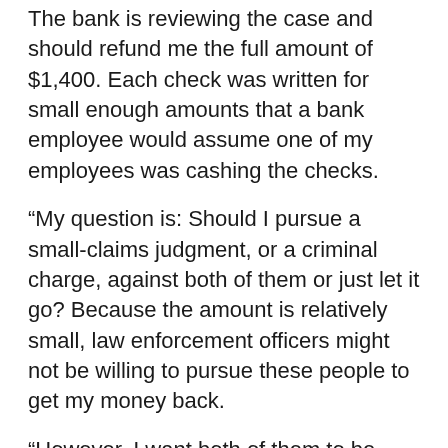The bank is reviewing the case and should refund me the full amount of $1,400. Each check was written for small enough amounts that a bank employee would assume one of my employees was cashing the checks.
“My question is: Should I pursue a small-claims judgment, or a criminal charge, against both of them or just let it go? Because the amount is relatively small, law enforcement officers might not be willing to pursue these people to get my money back.
“However, I want both of them to be held accountable to some degree. The checks were stolen. But I don’t have proof that she stole them. A Facebook search showed that my former employee was in a relationship with the brother of the man who cashed one check, and the handwriting on a